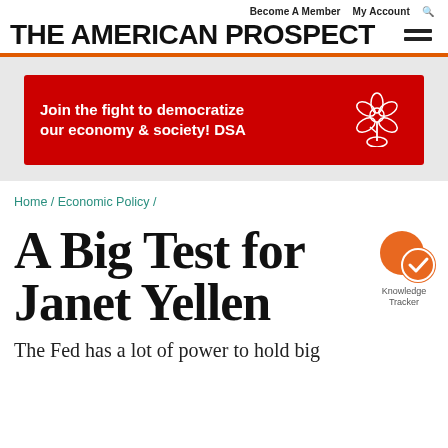Become A Member  My Account  🔍
THE AMERICAN PROSPECT
[Figure (infographic): DSA advertisement banner: 'Join the fight to democratize our economy & society! DSA' in white text on red background with DSA rose logo]
Home / Economic Policy /
A Big Test for Janet Yellen
The Fed has a lot of power to hold big
[Figure (logo): Knowledge Tracker badge: two overlapping circles in orange with a checkmark]